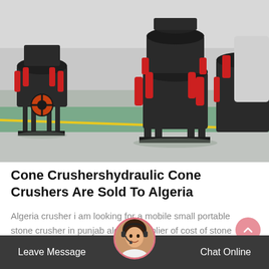[Figure (photo): Industrial factory floor showing multiple large hydraulic cone crushers with dark grey/black bodies and bright red hydraulic cylinders, sitting on metal frames on a green and grey concrete floor.]
Cone Crushershydraulic Cone Crushers Are Sold To Algeria
Algeria crusher i am looking for a mobile small portable stone crusher in punjab algeria supplier of cost of stone crusher in punjab india looking for stone; cone algeria jaw…
[Figure (photo): Customer service avatar: a woman wearing a headset, shown in a circular frame in the footer area.]
Leave Message   Chat Online